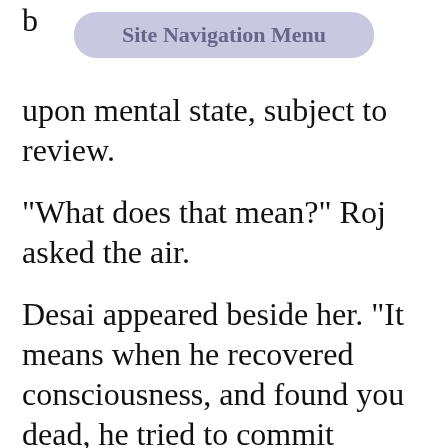Site Navigation Menu
upon mental state, subject to review.
"What does that mean?" Roj asked the air.
Desai appeared beside her. "It means when he recovered consciousness, and found you dead, he tried to commit suicide